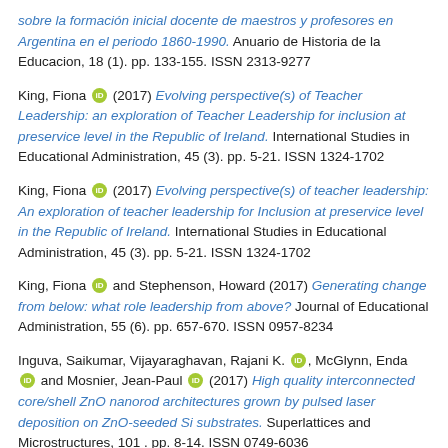sobre la formación inicial docente de maestros y profesores en Argentina en el periodo 1860-1990. Anuario de Historia de la Educacion, 18 (1). pp. 133-155. ISSN 2313-9277
King, Fiona [ORCID] (2017) Evolving perspective(s) of Teacher Leadership: an exploration of Teacher Leadership for inclusion at preservice level in the Republic of Ireland. International Studies in Educational Administration, 45 (3). pp. 5-21. ISSN 1324-1702
King, Fiona [ORCID] (2017) Evolving perspective(s) of teacher leadership: An exploration of teacher leadership for Inclusion at preservice level in the Republic of Ireland. International Studies in Educational Administration, 45 (3). pp. 5-21. ISSN 1324-1702
King, Fiona [ORCID] and Stephenson, Howard (2017) Generating change from below: what role leadership from above? Journal of Educational Administration, 55 (6). pp. 657-670. ISSN 0957-8234
Inguva, Saikumar, Vijayaraghavan, Rajani K. [ORCID], McGlynn, Enda [ORCID] and Mosnier, Jean-Paul [ORCID] (2017) High quality interconnected core/shell ZnO nanorod architectures grown by pulsed laser deposition on ZnO-seeded Si substrates. Superlattices and Microstructures, 101 . pp. 8-14. ISSN 0749-6036
Deli, Yota, Lambert, Derek, Lawless, Martina [ORCID], McQuinn, Kieran [ORCID]